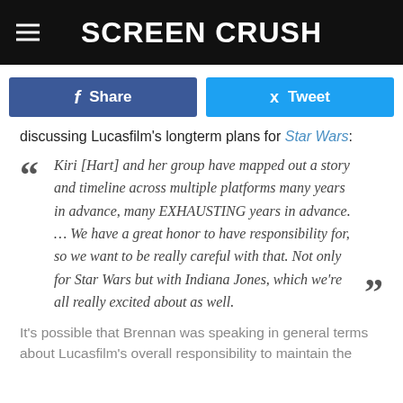Screen Crush
Share | Tweet (social sharing buttons)
discussing Lucasfilm's longterm plans for Star Wars:
Kiri [Hart] and her group have mapped out a story and timeline across multiple platforms many years in advance, many EXHAUSTING years in advance. … We have a great honor to have responsibility for, so we want to be really careful with that. Not only for Star Wars but with Indiana Jones, which we're all really excited about as well.
It's possible that Brennan was speaking in general terms about Lucasfilm's overall responsibility to maintain the